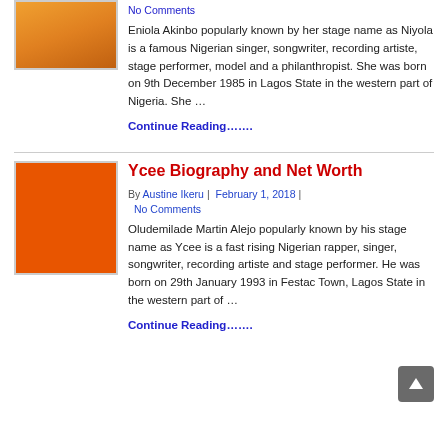[Figure (photo): Photo of Niyola in orange/yellow top]
No Comments
Eniola Akinbo popularly known by her stage name as Niyola is a famous Nigerian singer, songwriter, recording artiste, stage performer, model and a philanthropist. She was born on 9th December 1985 in Lagos State in the western part of Nigeria. She …
Continue Reading…….
[Figure (photo): Photo of Ycee on orange background]
Ycee Biography and Net Worth
By Austine Ikeru | February 1, 2018 | No Comments
Oludemilade Martin Alejo popularly known by his stage name as Ycee is a fast rising Nigerian rapper, singer, songwriter, recording artiste and stage performer. He was born on 29th January 1993 in Festac Town, Lagos State in the western part of …
Continue Reading…….